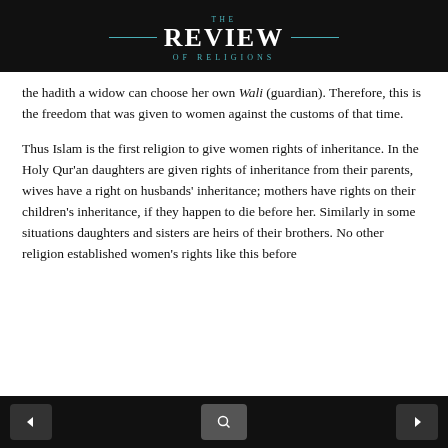THE REVIEW OF RELIGIONS
the hadith a widow can choose her own Wali (guardian). Therefore, this is the freedom that was given to women against the customs of that time.
Thus Islam is the first religion to give women rights of inheritance. In the Holy Qur'an daughters are given rights of inheritance from their parents, wives have a right on husbands' inheritance; mothers have rights on their children's inheritance, if they happen to die before her. Similarly in some situations daughters and sisters are heirs of their brothers. No other religion established women's rights like this before I...